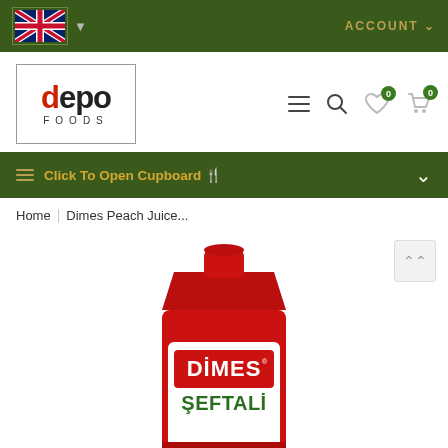ACCOUNT
[Figure (logo): Depo Foods logo in a bordered box with bold text 'depo' (d in red, o in green) and 'FOODS' in spaced letters below]
[Figure (infographic): Navigation icons: hamburger menu, search, heart with 0 badge, cart with 0 badge]
Click To Open Cupboard 🍴
Home | Dimes Peach Juice...
[Figure (photo): Dimes brand Şeftali (Peach) juice carton with red packaging, red cap, and white label showing 'DİMES ŞEFTALİ' text]